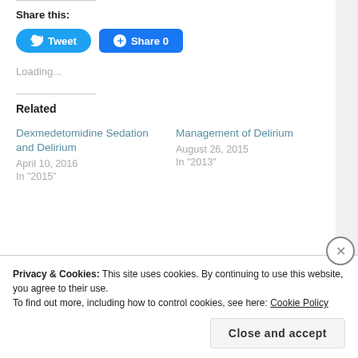Share this:
[Figure (screenshot): Tweet button (blue rounded) and Share 0 button (blue square) social sharing buttons]
Loading...
Related
Dexmedetomidine Sedation and Delirium
April 10, 2016
In "2015"
Management of Delirium
August 26, 2015
In "2013"
Privacy & Cookies: This site uses cookies. By continuing to use this website, you agree to their use.
To find out more, including how to control cookies, see here: Cookie Policy